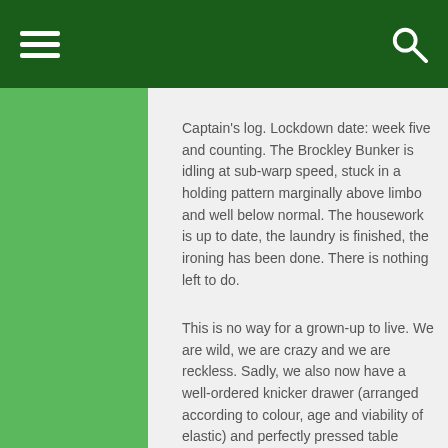menu / search
Captain's log. Lockdown date: week five and counting. The Brockley Bunker is idling at sub-warp speed, stuck in a holding pattern marginally above limbo and well below normal. The housework is up to date, the laundry is finished, the ironing has been done. There is nothing left to do.
This is no way for a grown-up to live. We are wild, we are crazy and we are reckless. Sadly, we also now have a well-ordered knicker drawer (arranged according to colour, age and viability of elastic) and perfectly pressed table napkins. And we don't even have a dining table. How the carefree are fallen.